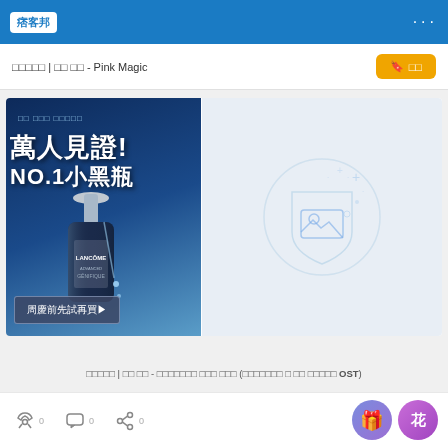痞客邦
□□□□□ | □□ □□ - Pink Magic
[Figure (screenshot): Advertisement banner for Lancôme Advanced Génifique serum with Chinese text '萬人見證! NO.1小黑瓶' and a call-to-action '周慶前先試再買▶'. Right side shows a broken image placeholder icon.]
□□□□□ | □□ □□ - □□□□□□□ □□□ □□□ (□□□□□□□ □ □□ □□□□□ OST)
0  0  0